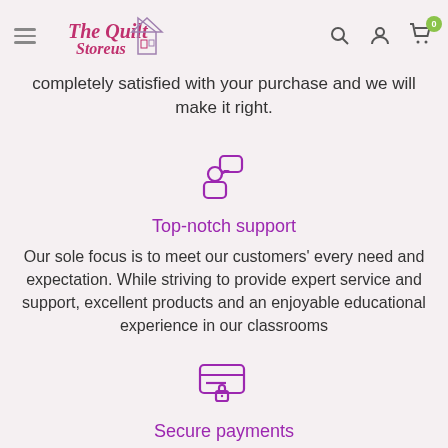The Quilt Storeus — navigation header with logo, search, account, cart (0)
completely satisfied with your purchase and we will make it right.
[Figure (illustration): Purple icon of a person with a speech/chat bubble above them, representing customer support.]
Top-notch support
Our sole focus is to meet our customers' every need and expectation. While striving to provide expert service and support, excellent products and an enjoyable educational experience in our classrooms
[Figure (illustration): Purple icon of a credit card with horizontal lines and a lock, representing secure payments.]
Secure payments
Your payment information is processed securely. We do not store credit card details nor have access to your credit card information. Pay securely with Paypal, Apple Pay, Google Pay, Visa, Mastercard or AMEX.